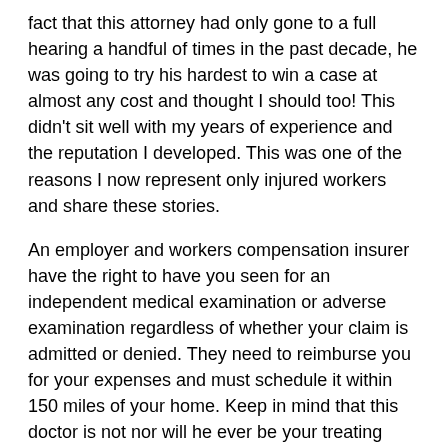fact that this attorney had only gone to a full hearing a handful of times in the past decade, he was going to try his hardest to win a case at almost any cost and thought I should too! This didn't sit well with my years of experience and the reputation I developed. This was one of the reasons I now represent only injured workers and share these stories.
An employer and workers compensation insurer have the right to have you seen for an independent medical examination or adverse examination regardless of whether your claim is admitted or denied. They need to reimburse you for your expenses and must schedule it within 150 miles of your home. Keep in mind that this doctor is not nor will he ever be your treating physician. There is no doctor patient confidentiality, everything you tell the doctor will be shared with the employer and insurer. Sometimes the examinations last a few minutes and other times they can take close to an hour with an extensive physical examination and questions.